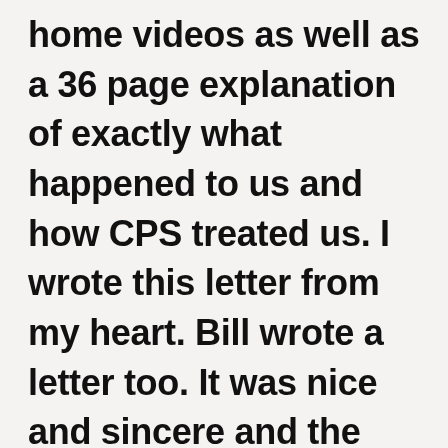home videos as well as a 36 page explanation of exactly what happened to us and how CPS treated us. I wrote this letter from my heart. Bill wrote a letter too. It was nice and sincere and the exact opposite from threatening. We thanked them for caring for our son. We told them that we believed he was safe with them